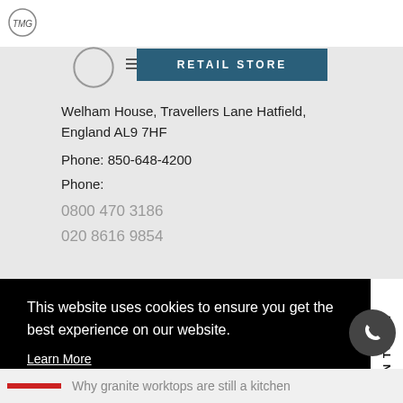[Figure (logo): TMG logo circle in top left corner]
[Figure (illustration): Partial grey circle shape, bottom of logo]
[Figure (illustration): Retail Store banner with dark teal background and white text reading RETAIL STORE]
Welham House, Travellers Lane Hatfield, England AL9 7HF
Phone: 850-648-4200
Phone:
0800 470 3186
020 8616 9854
GET IN TOUCH
This website uses cookies to ensure you get the best experience on our website.
Learn More
Accept
Why granite worktops are still a kitchen